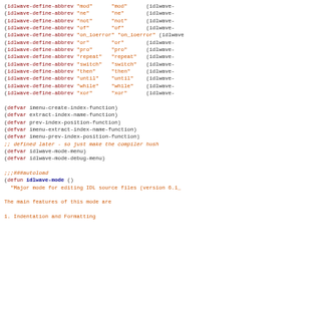Code listing showing idlwave-define-abbrev calls, defvar statements, defun idlwave-mode definition, and the beginning of its docstring.